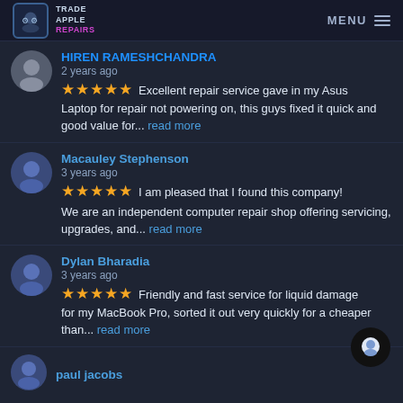TRADE APPLE REPAIRS — MENU
HIREN RAMESHCHANDRA
2 years ago
★★★★★ Excellent repair service gave in my Asus Laptop for repair not powering on, this guys fixed it quick and good value for... read more
Macauley Stephenson
3 years ago
★★★★★ I am pleased that I found this company!
We are an independent computer repair shop offering servicing, upgrades, and... read more
Dylan Bharadia
3 years ago
★★★★★ Friendly and fast service for liquid damage for my MacBook Pro, sorted it out very quickly for a cheaper than... read more
paul jacobs